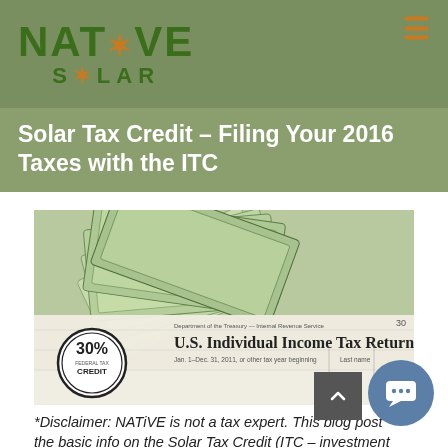NATIVE SOLAR
Solar Tax Credit – Filing Your 2016 Taxes with the ITC
[Figure (photo): Fan of US dollar bills spread over a U.S. Individual Income Tax Return form, with a circular '30% Federal Tax Credit' stamp overlay visible in the lower left corner.]
*Disclaimer: NATiVE is not a tax expert. This blog post the basic info on the Solar Tax Credit (ITC – investment